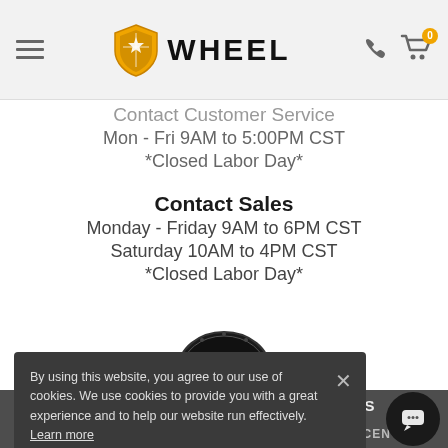WHEEL — navigation header with hamburger menu, logo, phone icon, cart icon with badge 0
Contact Customer Service
Mon - Fri 9AM to 5:00PM CST
*Closed Labor Day*
Contact Sales
Monday - Friday 9AM to 6PM CST
Saturday 10AM to 4PM CST
*Closed Labor Day*
[Figure (logo): Internet Retailer Top 500 badge/seal]
By using this website, you agree to our use of cookies. We use cookies to provide you with a great experience and to help our website run effectively. Learn more
SHOPPING   CUSTOMER CENTER
SORT   FILTERS